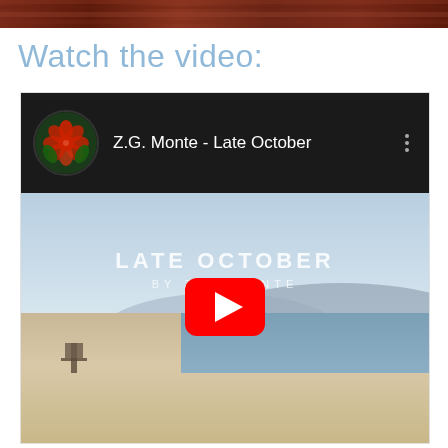[Figure (photo): Top banner image showing a reddish-brown textured background (hair or fabric)]
Watch the video:
[Figure (screenshot): YouTube video embed showing 'Z.G. Monte - Late October' with a beach scene thumbnail. The video thumbnail shows a Southern California beach with text overlay 'LATE OCTOBER BY Z.G. MONTE' and a YouTube play button. The video header shows a circular channel avatar with a red rose design and the title 'Z.G. Monte - Late October' on a black background.]